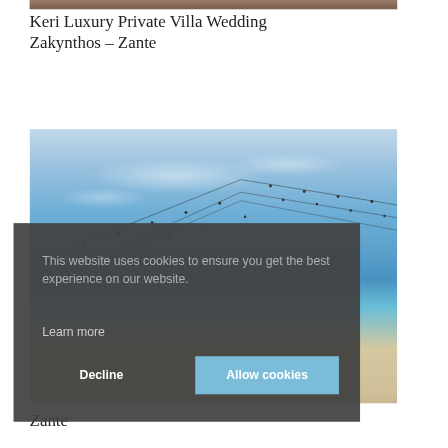[Figure (photo): Top portion of a wooden surface or dock, cropped image strip at very top of page]
Keri Luxury Private Villa Wedding Zakynthos – Zante
[Figure (photo): Outdoor beach/sea venue with string lights criss-crossing against a blue sky with scattered clouds, sandy beach visible at bottom right]
This website uses cookies to ensure you get the best experience on our website.
Learn more
Decline
Allow cookies
Zante